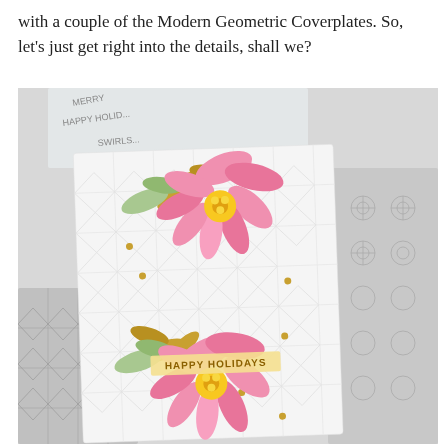with a couple of the Modern Geometric Coverplates. So, let's just get right into the details, shall we?
[Figure (photo): A handmade holiday greeting card featuring two large pink poinsettia flowers with gold and green leaves, sitting on a white embossed geometric coverplate background. The card reads 'HAPPY HOLIDAYS' in gold text. Behind the card are clear acrylic stamps and gray metal die-cut coverplates with geometric and snowflake patterns.]